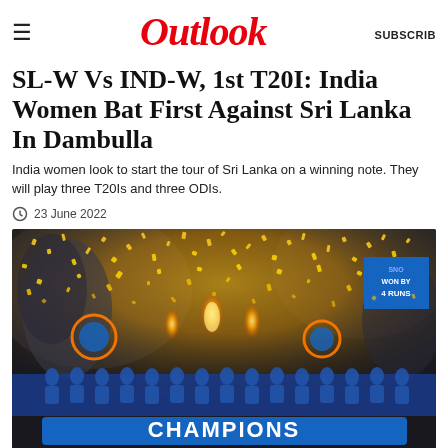Outlook
SL-W Vs IND-W, 1st T20I: India Women Bat First Against Sri Lanka In Dambulla
India women look to start the tour of Sri Lanka on a winning note. They will play three T20Is and three ODIs.
23 June 2022
[Figure (photo): Cricket team celebrating with confetti and fireworks in front of a CHAMPIONS sign, gold confetti filling the air, players in blue jerseys, with a blue scoreboard showing 'WON BY 4 RUNS' in the top right]
Twitter (@JayShah)